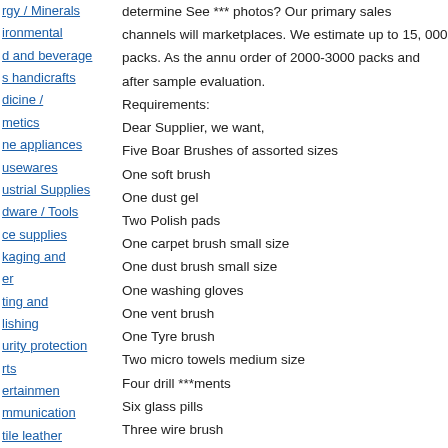rgy / Minerals
ironmental
d and beverage
s handicrafts
dicine / metics
ne appliances
usewares
ustrial Supplies
dware / Tools
ce supplies
kaging and er
ting and lishing
urity protection
rts
ertainmen
mmunication
tile leather
s
determine See *** photos? Our primary sales channels will marketplaces. We estimate up to 15, 000 packs. As the annu order of 2000-3000 packs and after sample evaluation.
Requirements:
Dear Supplier, we want,
Five Boar Brushes of assorted sizes
One soft brush
One dust gel
Two Polish pads
One carpet brush small size
One dust brush small size
One washing gloves
One vent brush
One Tyre brush
Two micro towels medium size
Four drill ***ments
Six glass pills
Three wire brush
One storage box for all items to fit in
Make sure the price you share with me must be of Pack of t
Important Points: